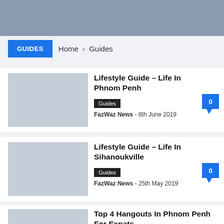GUIDES
Home › Guides
Lifestyle Guide – Life In Phnom Penh
Guides
FazWaz News - 8th June 2019
Lifestyle Guide – Life In Sihanoukville
Guides
FazWaz News - 25th May 2019
Top 4 Hangouts In Phnom Penh For Expats